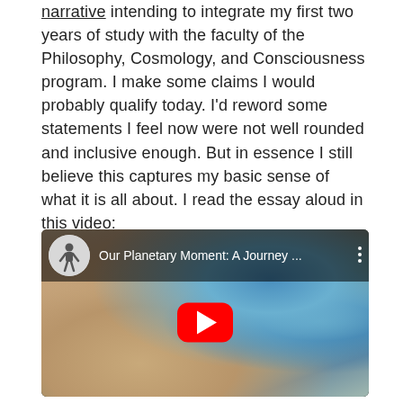narrative intending to integrate my first two years of study with the faculty of the Philosophy, Cosmology, and Consciousness program. I make some claims I would probably qualify today. I'd reword some statements I feel now were not well rounded and inclusive enough. But in essence I still believe this captures my basic sense of what it is all about. I read the essay aloud in this video:
[Figure (screenshot): YouTube video embed showing 'Our Planetary Moment: A Journey ...' with an aerial/satellite view of Earth showing a coastline and body of water, with a red YouTube play button in the center.]